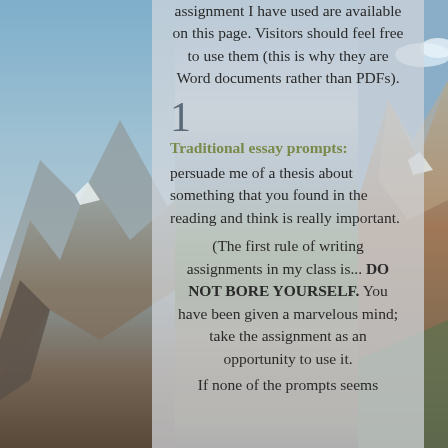assignment I have used are available on this page. Visitors should feel free to use them (this is why they are Word documents rather than PDFs).
1
Traditional essay prompts:
persuade me of a thesis about something that you found in the reading and think is really important.
(The first rule of writing assignments in my class is... DO NOT BORE YOURSELF. You have been given a marvelous mind; take the assignment as an opportunity to use it.
If none of the prompts seems